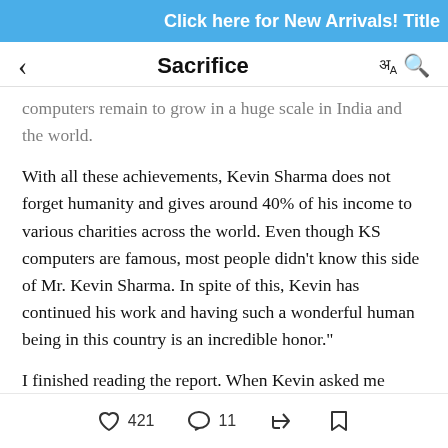Click here for New Arrivals! Title
Sacrifice
computers remain to grow in a huge scale in India and the world.
With all these achievements, Kevin Sharma does not forget humanity and gives around 40% of his income to various charities across the world. Even though KS computers are famous, most people didn’t know this side of Mr. Kevin Sharma. In spite of this, Kevin has continued his work and having such a wonderful human being in this country is an incredible honor.”
I finished reading the report. When Kevin asked me
421 likes  11 comments  share  bookmark